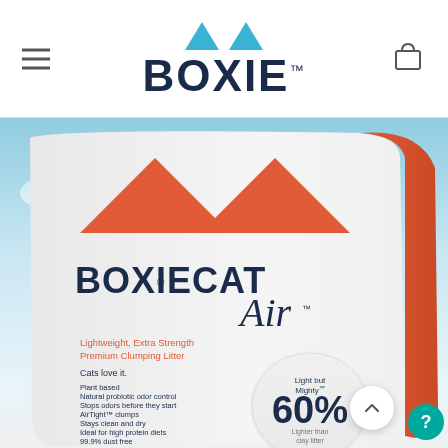[Figure (logo): Boxie brand logo with two blue triangles above the text BOXIE with TM mark]
[Figure (photo): Boxiecat Air Lightweight Extra Strength Premium Clumping Litter bag. White and orange bag with two orange triangles, featuring text: BOXIECAT Air, Lightweight, Extra Strength Premium Clumping Litter, Cats love it, Plant based, Natural probiotic odor control, Stops odors before they start, AirTight clumps, Stays clean and dry, Ideal for high protein diets, 99.9% dust free, Scent free. Badge reads: Light but Mighty 60% Lighter than clay litter. NET WT 11.5 LBS (5.22kg) Made in the U.S.A.]